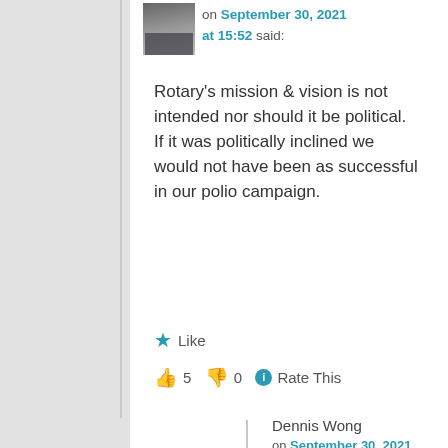[Figure (photo): User avatar thumbnail showing people in background]
on September 30, 2021 at 15:52 said:
Rotary's mission & vision is not intended nor should it be political. If it was politically inclined we would not have been as successful in our polio campaign.
★ Like
👍 5 👎 0 ℹ Rate This
Dennis Wong
on September 30, 2021 at 19:17 said:
Good question .. is DEI political? RI says … Diversity, Equity, and Inclusion are not political issues.